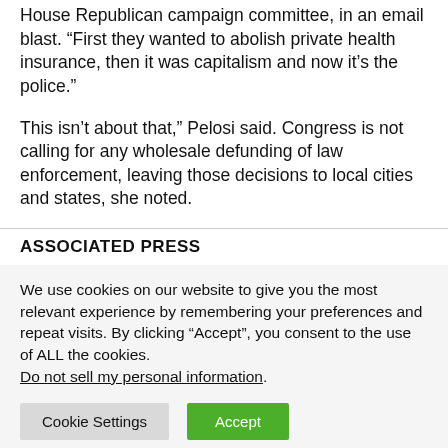House Republican campaign committee, in an email blast. “First they wanted to abolish private health insurance, then it was capitalism and now it’s the police.”
This isn’t about that,” Pelosi said. Congress is not calling for any wholesale defunding of law enforcement, leaving those decisions to local cities and states, she noted.
ASSOCIATED PRESS
We use cookies on our website to give you the most relevant experience by remembering your preferences and repeat visits. By clicking “Accept”, you consent to the use of ALL the cookies. Do not sell my personal information.